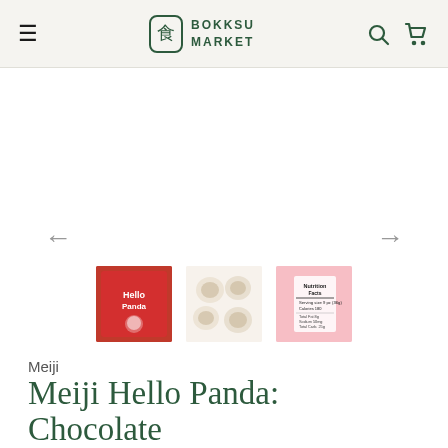Bokksu Market
[Figure (photo): Product thumbnail gallery showing Meiji Hello Panda Chocolate: first thumbnail shows the red product box with panda characters, second thumbnail shows the round biscuit pieces with chocolate filling, third thumbnail shows the nutrition facts panel on pink packaging background. Navigation arrows (left and right) flank the gallery.]
Meiji
Meiji Hello Panda: Chocolate
★★★★★ 2 Reviews
$4.99 | 2+